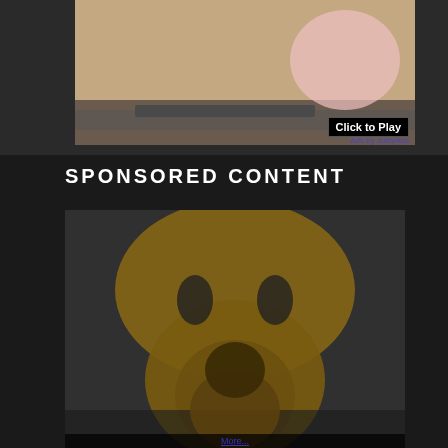[Figure (photo): Partial view of a fitness/exercise scene with a pink exercise ball on a mat, with a 'Click to Play' button overlay and 'Ads by JuicyAds' label]
Click to Play
Ads by JuicyAds
SPONSORED CONTENT
[Figure (photo): Sponsored content advertisement photo of a woman posing in a studio setting]